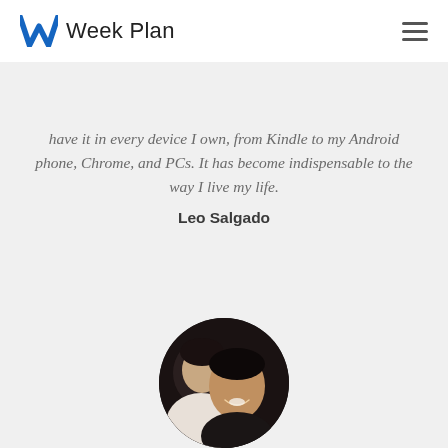Week Plan
have it in every device I own, from Kindle to my Android phone, Chrome, and PCs. It has become indispensable to the way I live my life.
Leo Salgado
[Figure (photo): Circular cropped photo of Leo Salgado, showing two people smiling, with dark background]